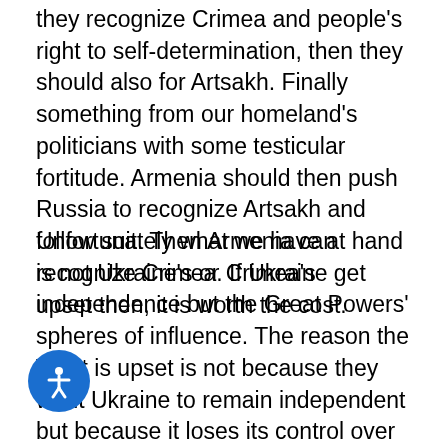they recognize Crimea and people's right to self-determination, then they should also for Artsakh. Finally something from our homeland's politicians with some testicular fortitude. Armenia should then push Russia to recognize Artsakh and follow suit. Then Armenia can recognize Crimea. If Ukraine get upset then, it is worth the cost.
Unfortunately what we have at hand is not Ukraine's or Crimea's independence but the Great Powers' spheres of influence. The reason the West is upset is not because they want Ukraine to remain independent but because it loses its control over Ukraine/Crimea. At this time, whether we like it or not, Russia's and Iran's interests like with us. With the current situation, the Tatar-Chechen-Turkic-Azeri link is going to polarize against Russia, who will have to support us for its own interests. Iran also hates Azeris despite their Muslim connection. Russia will also side more with Iran and not compromise with the broader power structure. The the broader